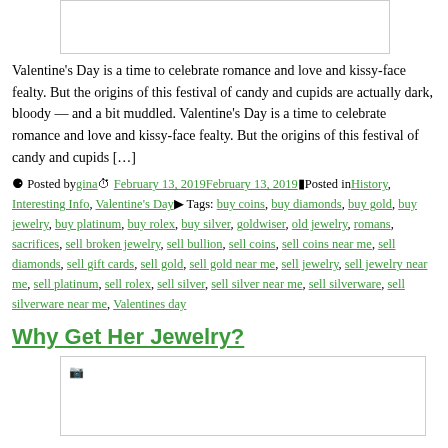[Figure (photo): Placeholder image at top of page]
Valentine's Day is a time to celebrate romance and love and kissy-face fealty. But the origins of this festival of candy and cupids are actually dark, bloody — and a bit muddled. Valentine's Day is a time to celebrate romance and love and kissy-face fealty. But the origins of this festival of candy and cupids […]
Posted by gina February 13, 2019 February 13, 2019 Posted in History, Interesting Info, Valentine's Day Tags: buy coins, buy diamonds, buy gold, buy jewelry, buy platinum, buy rolex, buy silver, goldwiser, old jewelry, romans, sacrifices, sell broken jewelry, sell bullion, sell coins, sell coins near me, sell diamonds, sell gift cards, sell gold, sell gold near me, sell jewelry, sell jewelry near me, sell platinum, sell rolex, sell silver, sell silver near me, sell silverware, sell silverware near me, Valentines day
Why Get Her Jewelry?
[Figure (photo): Placeholder image at bottom of page]